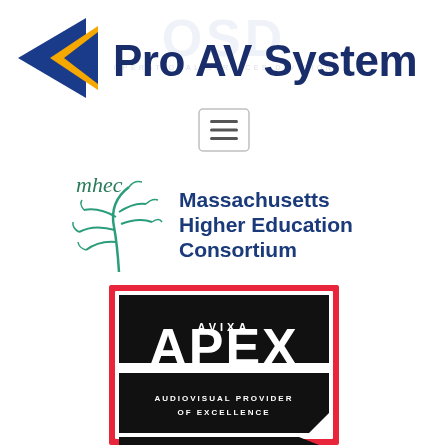[Figure (logo): Pro AV Systems logo with blue and gold arrow/chevron graphic and bold blue text 'Pro AV Systems']
[Figure (logo): OSD Operational Services Division watermark in light gray]
[Figure (other): Hamburger menu icon (three horizontal lines in a rounded rectangle border)]
[Figure (logo): Massachusetts Higher Education Consortium (MHEC) logo with stylized tree graphic in teal/green and blue text 'Massachusetts Higher Education Consortium']
[Figure (logo): AVIXA APEX - Audiovisual Provider of Excellence badge/logo in black and red with white text]